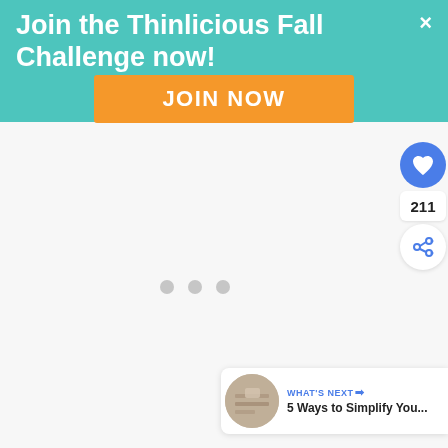Join the Thinlicious Fall Challenge now!
JOIN NOW
[Figure (screenshot): Loading spinner dots in the main content area]
211
WHAT'S NEXT → 5 Ways to Simplify You...